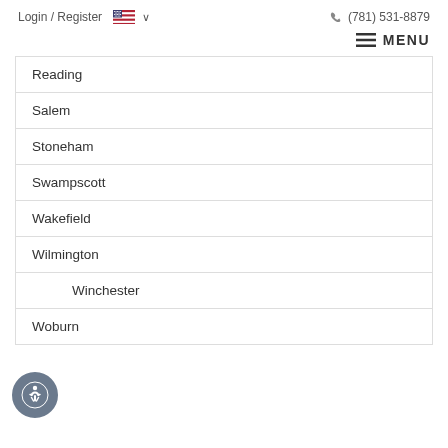Login / Register   🇺🇸 ∨   (781) 531-8879
MENU
Reading
Salem
Stoneham
Swampscott
Wakefield
Wilmington
Winchester
Woburn